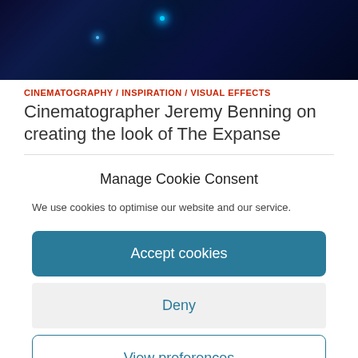[Figure (photo): Dark blue cinematic scene with glowing blue light orbs against a deep space or underwater background]
CINEMATOGRAPHY / INSPIRATION / VISUAL EFFECTS
Cinematographer Jeremy Benning on creating the look of The Expanse
Manage Cookie Consent
We use cookies to optimise our website and our service.
Accept cookies
Deny
View preferences